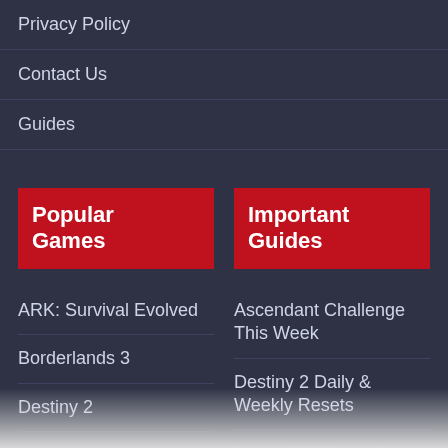Privacy Policy
Contact Us
Guides
Popular Games
Important Guides
ARK: Survival Evolved
Ascendant Challenge This Week
Borderlands 3
Destiny 2 Daily & Weekly Resets
Destiny 2
Legend & Master Lost Sectors Today
Monster Hunter: World
Destiny 2 Xur Location This Week
New World
Sims 4
Valheim